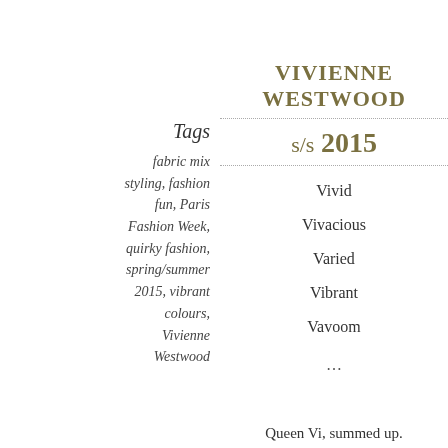Vivienne Westwood
s/s 2015
Tags
fabric mix
styling, fashion fun, Paris Fashion Week, quirky fashion, spring/summer 2015, vibrant colours, Vivienne Westwood
Vivid
Vivacious
Varied
Vibrant
Vavoom
...
Queen Vi, summed up.